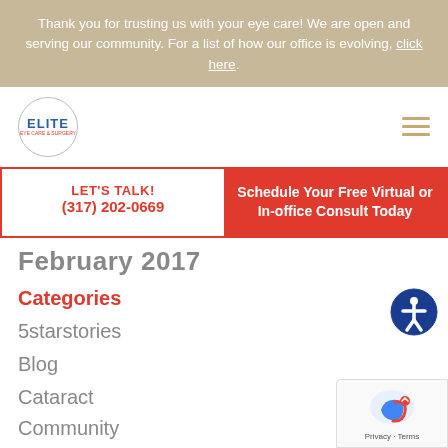Thank you for trusting us with your eye care! We are open and serving our community. For a list of how our office is evolving, click here.
[Figure (logo): Elite Eye Care logo — circle with ELITE text in blue and subtitle in red]
LET'S TALK!
(317) 202-0669
Schedule Your Free Virtual or In-office Consult Today
February 2017
Categories
5starstories
Blog
Cataract
Community